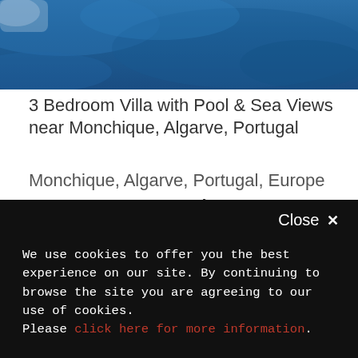[Figure (photo): Close-up photo of blue textured fabric or water surface, cropped at top of page]
3 Bedroom Villa with Pool & Sea Views near Monchique, Algarve, Portugal
Monchique, Algarve, Portugal, Europe
From €1,258 per week
Minimum stay 7 nights
Multiple offers available
🛏 3  👥 6
[Figure (photo): Partial outdoor photo showing trees and sky on left, and a terracotta pot on right]
Close ✕
We use cookies to offer you the best experience on our site. By continuing to browse the site you are agreeing to our use of cookies.
Please click here for more information.